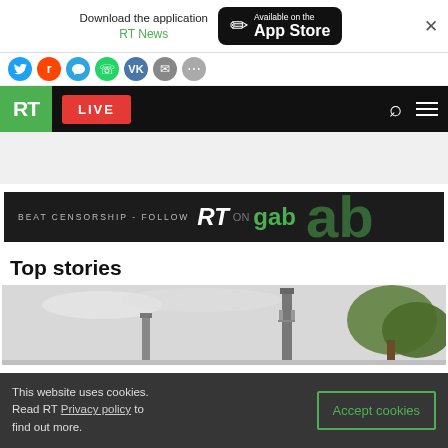Download the application RT News | Available on the App Store
[Figure (screenshot): RT website navigation bar with green RT logo, red LIVE button, search and menu icons]
[Figure (illustration): BEAT CENSORSHIP - FOLLOW RT ON gab promotional banner]
Top stories
[Figure (photo): Industrial scene with chimneys and trees against gray sky]
This website uses cookies. Read RT Privacy policy to find out more.